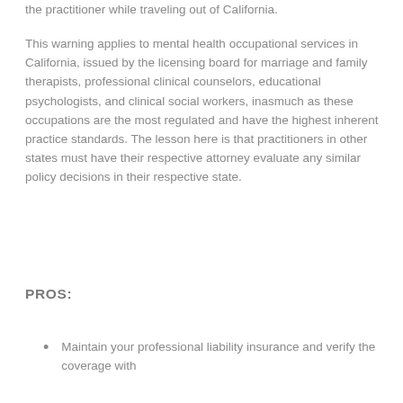the practitioner while traveling out of California.
This warning applies to mental health occupational services in California, issued by the licensing board for marriage and family therapists, professional clinical counselors, educational psychologists, and clinical social workers, inasmuch as these occupations are the most regulated and have the highest inherent practice standards. The lesson here is that practitioners in other states must have their respective attorney evaluate any similar policy decisions in their respective state.
PROS:
Maintain your professional liability insurance and verify the coverage with